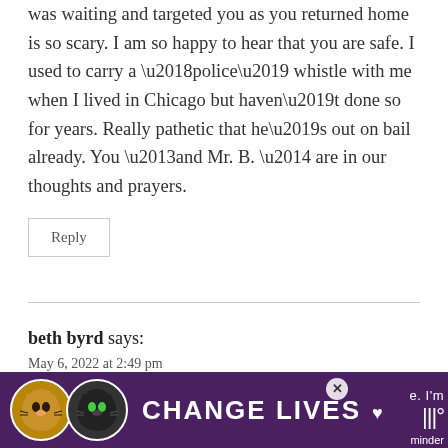was waiting and targeted you as you returned home is so scary. I am so happy to hear that you are safe. I used to carry a ‘police’ whistle with me when I lived in Chicago but haven’t done so for years. Really pathetic that he’s out on bail already. You –and Mr. B. — are in our thoughts and prayers.
Reply
beth byrd says:
May 6, 2022 at 2:49 pm
One more thought –
[Figure (screenshot): Advertisement banner with cats and text CHANGE LIVES with a heart symbol, close button, and partial text on the right side]